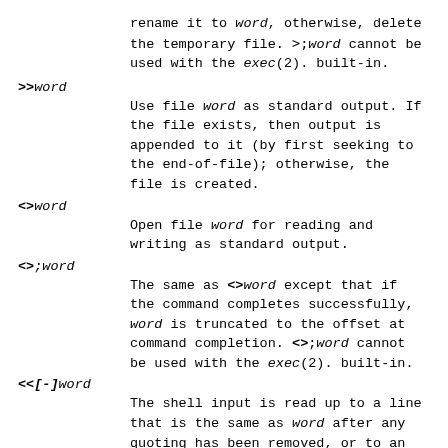rename it to word, otherwise, delete the temporary file. >;word cannot be used with the exec(2). built-in.
>>word
Use file word as standard output. If the file exists, then output is appended to it (by first seeking to the end-of-file); otherwise, the file is created.
<>word
Open file word for reading and writing as standard output.
<>;word
The same as <>word except that if the command completes successfully, word is truncated to the offset at command completion. <>;word cannot be used with the exec(2). built-in.
<<[-]word
The shell input is read up to a line that is the same as word after any quoting has been removed, or to an end-of-file. No parameter ...